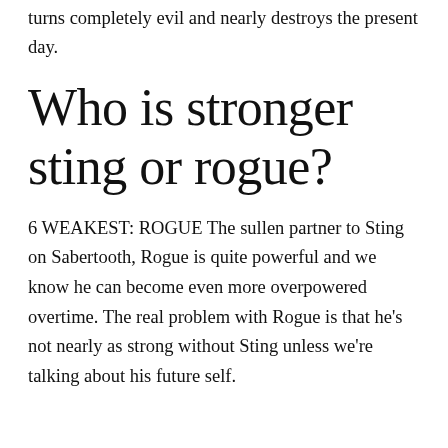turns completely evil and nearly destroys the present day.
Who is stronger sting or rogue?
6 WEAKEST: ROGUE The sullen partner to Sting on Sabertooth, Rogue is quite powerful and we know he can become even more overpowered overtime. The real problem with Rogue is that he's not nearly as strong without Sting unless we're talking about his future self.